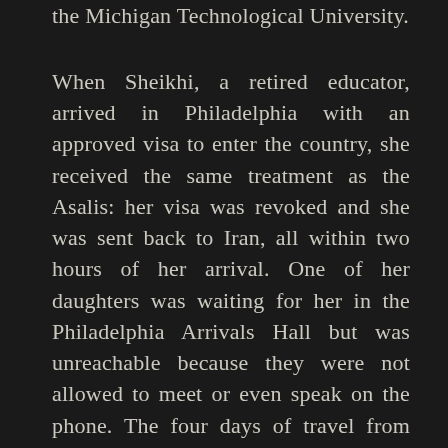the Michigan Technological University.
When Sheikhi, a retired educator, arrived in Philadelphia with an approved visa to enter the country, she received the same treatment as the Asalis: her visa was revoked and she was sent back to Iran, all within two hours of her arrival. One of her daughters was waiting for her in the Philadelphia Arrivals Hall but was unreachable because they were not allowed to meet or even speak on the phone. The four days of travel from Iran to Philadelphia and back to Iran, virtually non-stop, took a tremendous emotional and physical toll on Sheikhi, who fell ill soon after her return home.